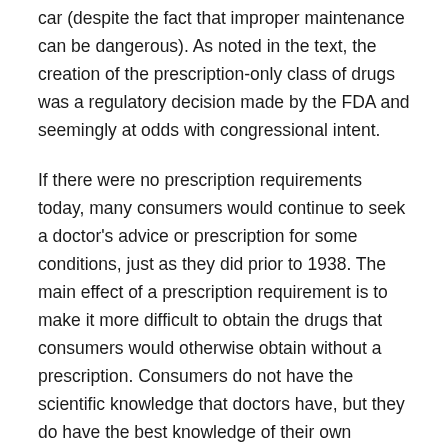car (despite the fact that improper maintenance can be dangerous). As noted in the text, the creation of the prescription-only class of drugs was a regulatory decision made by the FDA and seemingly at odds with congressional intent.
If there were no prescription requirements today, many consumers would continue to seek a doctor's advice or prescription for some conditions, just as they did prior to 1938. The main effect of a prescription requirement is to make it more difficult to obtain the drugs that consumers would otherwise obtain without a prescription. Consumers do not have the scientific knowledge that doctors have, but they do have the best knowledge of their own personal situation, history, and costs of going to see the doctor. Moreover, they are the ones who taste the consequences of properly or improperly treating their sickness. So, in a world without prescription requirements, they would still have